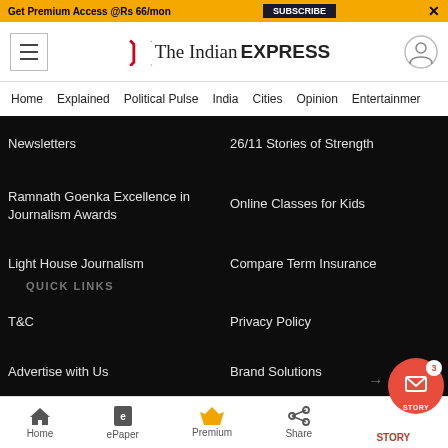Get Premium Access @Rs 66/mon | SUBSCRIBE | X
[Figure (logo): The Indian Express logo with red chevrons and serif/sans-serif mixed typography]
Home | Explained | Political Pulse | India | Cities | Opinion | Entertainment
Newsletters
26/11 Stories of Strength
Ramnath Goenka Excellence in Journalism Awards
Online Classes for Kids
Light House Journalism
Compare Term Insurance
QUICK LINKS
T&C
Privacy Policy
Advertise with Us
Brand Solutions
Home | ePaper | Premium | Share | STORY